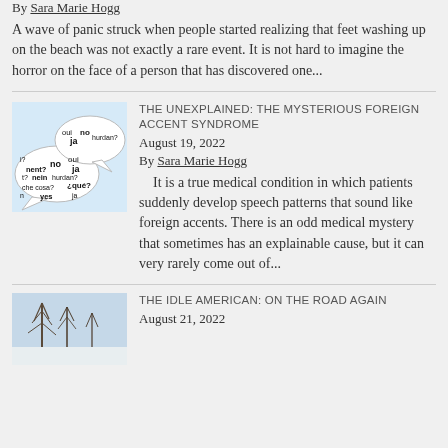By Sara Marie Hogg
A wave of panic struck when people started realizing that feet washing up on the beach was not exactly a rare event. It is not hard to imagine the horror on the face of a person that has discovered one...
[Figure (illustration): Speech bubbles with words in multiple languages: oui, ja, no, nein, hurdan?, que?, che cosa?, yes, and question marks]
THE UNEXPLAINED: THE MYSTERIOUS FOREIGN ACCENT SYNDROME
August 19, 2022
By Sara Marie Hogg
It is a true medical condition in which patients suddenly develop speech patterns that sound like foreign accents. There is an odd medical mystery that sometimes has an explainable cause, but it can very rarely come out of...
[Figure (photo): Outdoor winter scene with bare trees against a light sky]
THE IDLE AMERICAN: ON THE ROAD AGAIN
August 21, 2022